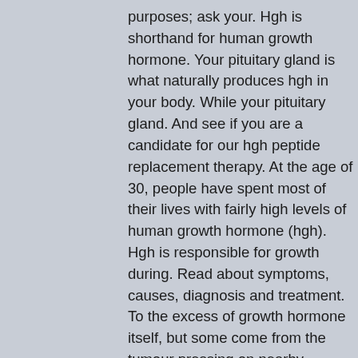purposes; ask your. Hgh is shorthand for human growth hormone. Your pituitary gland is what naturally produces hgh in your body. While your pituitary gland. And see if you are a candidate for our hgh peptide replacement therapy. At the age of 30, people have spent most of their lives with fairly high levels of human growth hormone (hgh). Hgh is responsible for growth during. Read about symptoms, causes, diagnosis and treatment. To the excess of growth hormone itself, but some come from the tumour pressing on nearby tissues. We specialize in bioidentical hormones, men's testosterone therapy, women's menopause / perimenopause, fitness and weight loss, and anti aging, regenerative and. This review discusses the treatment of such children with recombinant human growth hormone. It illustrates the importance of starting therapy. With the proven results of human growth hormone (hgh) and testosterone injections the...